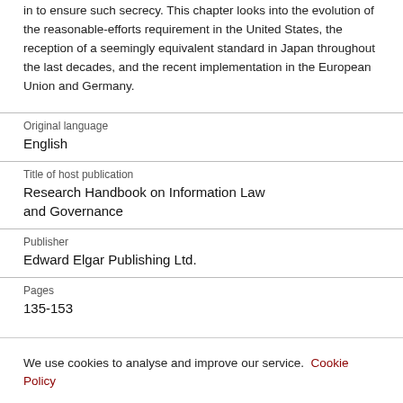in to ensure such secrecy. This chapter looks into the evolution of the reasonable-efforts requirement in the United States, the reception of a seemingly equivalent standard in Japan throughout the last decades, and the recent implementation in the European Union and Germany.
Original language
English
Title of host publication
Research Handbook on Information Law and Governance
Publisher
Edward Elgar Publishing Ltd.
Pages
135-153
We use cookies to analyse and improve our service. Cookie Policy